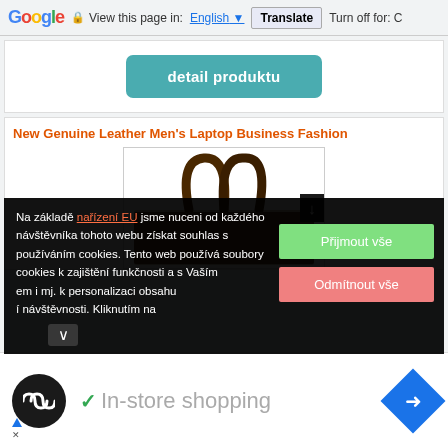Google  View this page in: English  Translate  Turn off for: C
[Figure (screenshot): Teal rounded button labeled 'detail produktu']
New Genuine Leather Men's Laptop Business Fashion
[Figure (photo): Product photo of a dark leather laptop bag showing two handles]
Na základě nařízení EU jsme nuceni od každého návštěvníka tohoto webu získat souhlas s používáním cookies. Tento web používá soubory cookies k zajištění funkčnosti a s Vaším em i mj. k personalizaci obsahu í návštěvnosti. Kliknutím na
[Figure (screenshot): Green button: Přijmout vše; Red button: Odmítnout vše]
[Figure (logo): Loop/infinity icon in black circle]
✓  In-store shopping
[Figure (other): Blue diamond navigation icon with right-turn arrow]